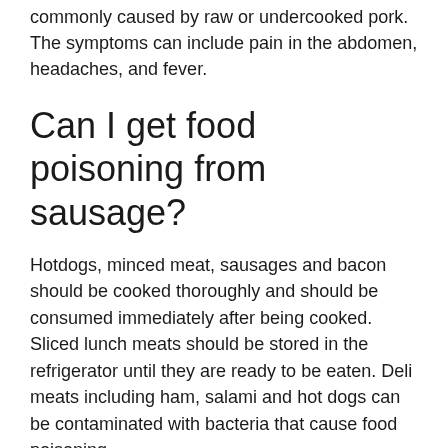commonly caused by raw or undercooked pork. The symptoms can include pain in the abdomen, headaches, and fever.
Can I get food poisoning from sausage?
Hotdogs, minced meat, sausages and bacon should be cooked thoroughly and should be consumed immediately after being cooked. Sliced lunch meats should be stored in the refrigerator until they are ready to be eaten. Deli meats including ham, salami and hot dogs can be contaminated with bacteria that cause food poisoning.